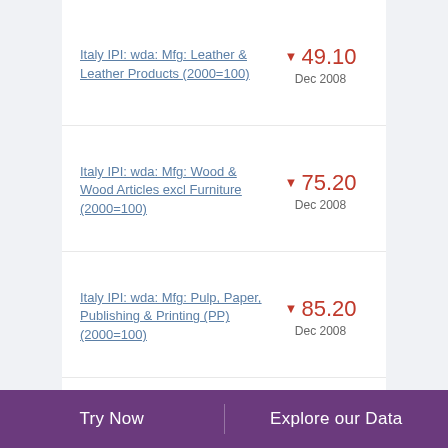Italy IPI: wda: Mfg: Leather & Leather Products (2000=100)
Italy IPI: wda: Mfg: Wood & Wood Articles excl Furniture (2000=100)
Italy IPI: wda: Mfg: Pulp, Paper, Publishing & Printing (PP) (2000=100)
Italy IPI: wda: Mfg: Coke and Petroleum Product (2000=100)
Try Now | Explore our Data